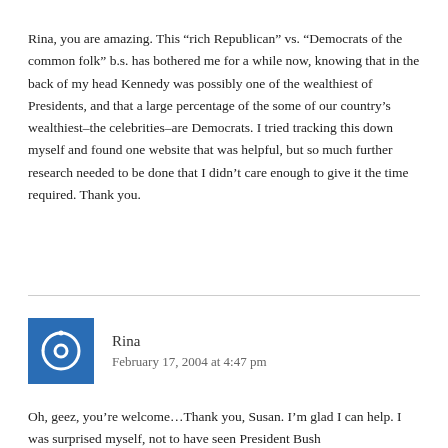Rina, you are amazing. This “rich Republican” vs. “Democrats of the common folk” b.s. has bothered me for a while now, knowing that in the back of my head Kennedy was possibly one of the wealthiest of Presidents, and that a large percentage of the some of our country’s wealthiest–the celebrities–are Democrats. I tried tracking this down myself and found one website that was helpful, but so much further research needed to be done that I didn’t care enough to give it the time required. Thank you.
Rina
February 17, 2004 at 4:47 pm
Oh, geez, you’re welcome…Thank you, Susan. I’m glad I can help. I was surprised myself, not to have seen President Bush